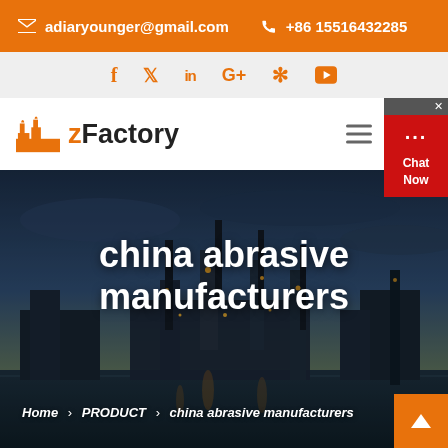✉ adiaryounger@gmail.com   ✆ +86 15516432285
f  ✓  in  G+  ⊕  ▶
[Figure (logo): zFactory logo with orange factory building icon and bold text 'zFactory']
[Figure (photo): Industrial factory at dusk with chimneys and lights reflected in water, dark blue and orange tones]
china abrasive manufacturers
Home › PRODUCT › china abrasive manufacturers